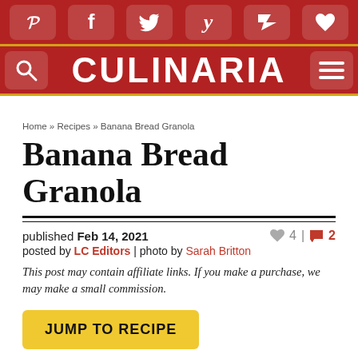CULINARIA — social share bar and navigation header
Home » Recipes » Banana Bread Granola
Banana Bread Granola
published Feb 14, 2021   ♥ 4 | 💬 2
posted by LC Editors | photo by Sarah Britton
This post may contain affiliate links. If you make a purchase, we may make a small commission.
JUMP TO RECIPE
This banana bread granola has all the goodness of